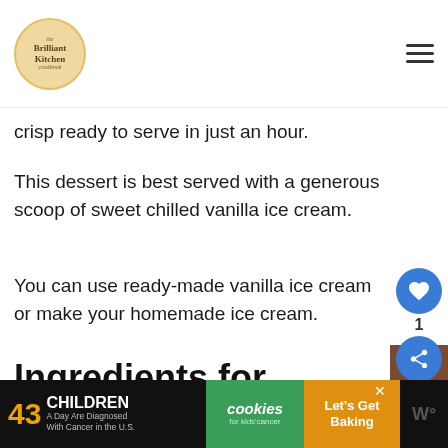Brilliant Kitchen
crisp ready to serve in just an hour.
This dessert is best served with a generous scoop of sweet chilled vanilla ice cream.
You can use ready-made vanilla ice cream or make your homemade ice cream.
Ingredients for home-made vanilla ice cream
14 OZs of sweetened condensed milk
[Figure (other): Advertisement banner: 43 Children A Day Are Diagnosed With Cancer in the U.S. - cookies for kids cancer - Let's Get Baking]
[Figure (other): What's Next promo: How to Bake Chicken...]